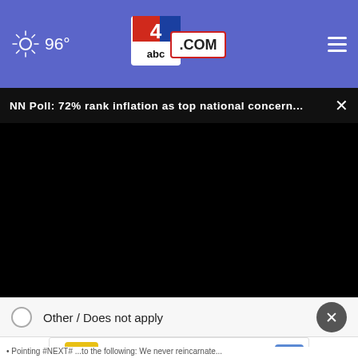96° abc4.com
NN Poll: 72% rank inflation as top national concern...
[Figure (screenshot): Black video player area]
Other / Does not apply
[Figure (infographic): Advertisement: View store hours, get directions, or call your salon! HC logo in yellow box]
• Pointing #NEXT# ...to the following: We never reincarnate...